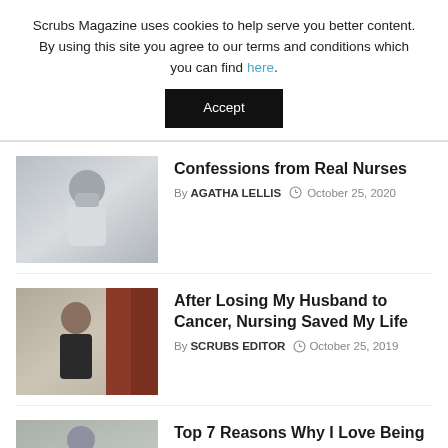Scrubs Magazine uses cookies to help serve you better content. By using this site you agree to our terms and conditions which you can find here.
Accept
Confessions from Real Nurses
By AGATHA LELLIS  October 25, 2020
[Figure (photo): A nurse wearing a face mask and white coat, holding a stethoscope]
After Losing My Husband to Cancer, Nursing Saved My Life
By SCRUBS EDITOR  October 25, 2019
[Figure (photo): A woman in a dark jacket standing in a hospital hallway with lockers]
Top 7 Reasons Why I Love Being a
[Figure (photo): Partial view of a person, third article thumbnail]